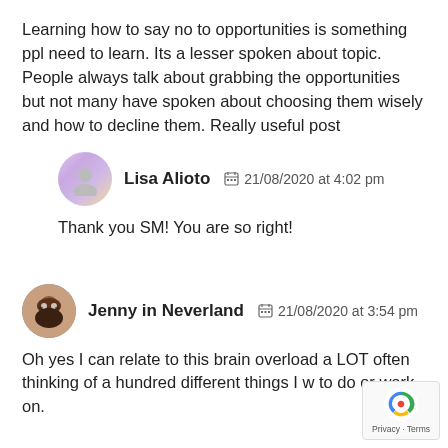Learning how to say no to opportunities is something ppl need to learn. Its a lesser spoken about topic. People always talk about grabbing the opportunities but not many have spoken about choosing them wisely and how to decline them. Really useful post
Lisa Alioto   21/08/2020 at 4:02 pm
Thank you SM! You are so right!
Jenny in Neverland   21/08/2020 at 3:54 pm
Oh yes I can relate to this brain overload a LOT often thinking of a hundred different things I w to do or work on.